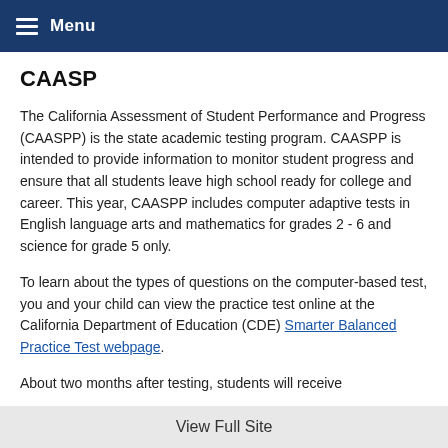Menu
CAASP
The California Assessment of Student Performance and Progress (CAASPP) is the state academic testing program. CAASPP is intended to provide information to monitor student progress and ensure that all students leave high school ready for college and career. This year, CAASPP includes computer adaptive tests in English language arts and mathematics for grades 2 - 6 and science for grade 5 only.
To learn about the types of questions on the computer-based test, you and your child can view the practice test online at the California Department of Education (CDE) Smarter Balanced Practice Test webpage.
About two months after testing, students will receive
View Full Site